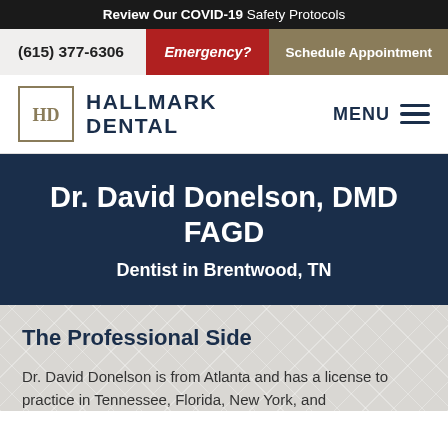Review Our COVID-19 Safety Protocols
(615) 377-6306  |  Emergency?  |  Schedule Appointment
[Figure (logo): Hallmark Dental logo with HD monogram icon and text HALLMARK DENTAL]
Dr. David Donelson, DMD FAGD
Dentist in Brentwood, TN
The Professional Side
Dr. David Donelson is from Atlanta and has a license to practice in Tennessee, Florida, New York, and